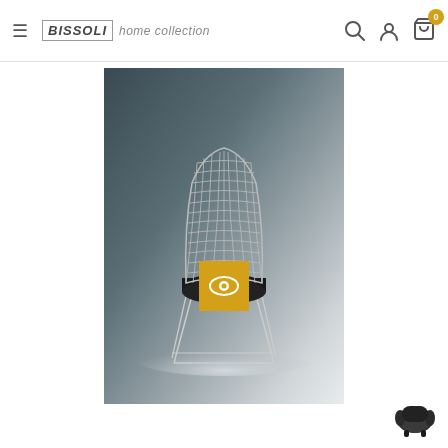BISSOLI home collection — navigation header with hamburger menu, search, account, and cart icons
[Figure (photo): Wire frame chair (Bertoia-style) with black seat cushion on a gradient grey background, with a yellow eye/view icon overlay button in the center-bottom area of the image]